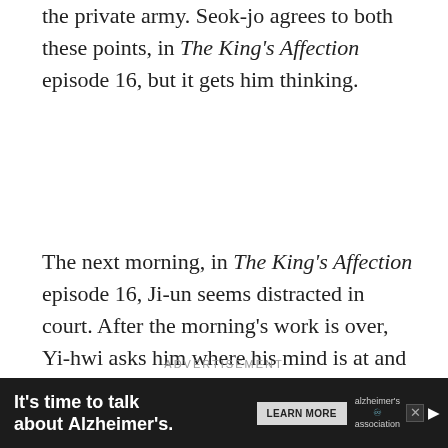the private army. Seok-jo agrees to both these points, in The King's Affection episode 16, but it gets him thinking.
The next morning, in The King's Affection episode 16, Ji-un seems distracted in court. After the morning's work is over, Yi-hwi asks him where his mind is at and he tells her that he is just tired. After he bids her farewell to go to Seungjeongwon, Ha-gyeong calls him to her quarters, most probably to get him and So-eun together.
ADVERTISEMENT
[Figure (other): Advertisement banner showing partial image content with close button]
[Figure (other): Bottom advertisement bar: It's time to talk about Alzheimer's. with Learn More button, Alzheimer's Association logo, and close/volume controls]